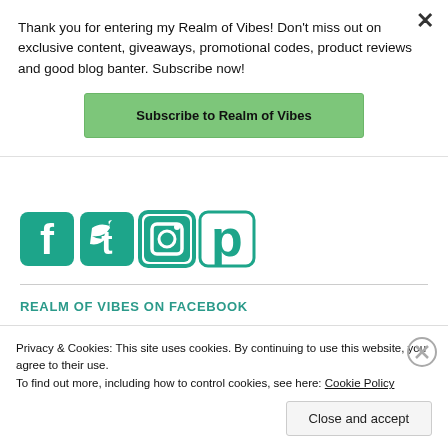Thank you for entering my Realm of Vibes! Don't miss out on exclusive content, giveaways, promotional codes, product reviews and good blog banter. Subscribe now!
Subscribe to Realm of Vibes
[Figure (illustration): Social media icons: Facebook, Twitter, Instagram, Pinterest — all in teal/green color]
REALM OF VIBES ON FACEBOOK
Privacy & Cookies: This site uses cookies. By continuing to use this website, you agree to their use.
To find out more, including how to control cookies, see here: Cookie Policy
Close and accept